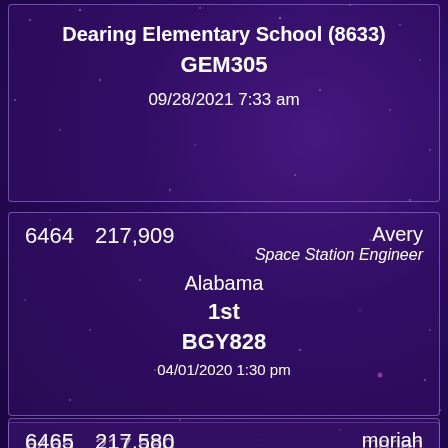Dearing Elementary School (8633)
GEM305
09/28/2021 7:33 am
6464    217,909    Avery
Space Station Engineer
Alabama
1st
BGY828
04/01/2020 1:30 pm
6465    217,580    moriah
Earth Representative
Georgia
2nd
Dearing Elementary School (8633)
GEM305
02/25/2022 11:54 am